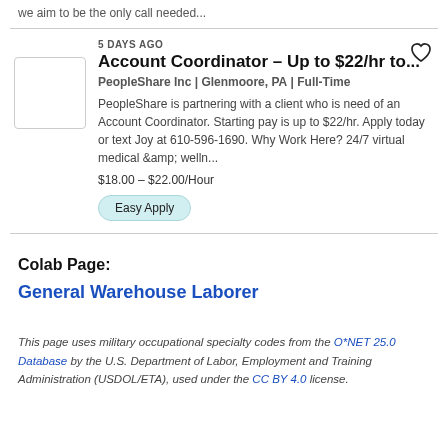we aim to be the only call needed...
5 DAYS AGO
Account Coordinator - Up to $22/hr to...
PeopleShare Inc | Glenmoore, PA | Full-Time
PeopleShare is partnering with a client who is need of an Account Coordinator. Starting pay is up to $22/hr. Apply today or text Joy at 610-596-1690. Why Work Here? 24/7 virtual medical &amp; welln...
$18.00 - $22.00/Hour
Easy Apply
Colab Page:
General Warehouse Laborer
This page uses military occupational specialty codes from the O*NET 25.0 Database by the U.S. Department of Labor, Employment and Training Administration (USDOL/ETA), used under the CC BY 4.0 license.